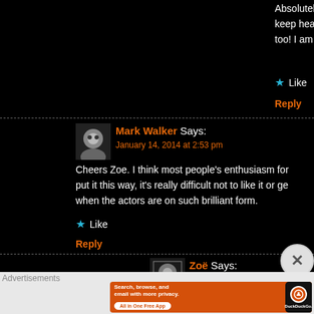Absolutely solid review Mark! I am seriously hoping to check... keep hearing fantastic things about the cast, so hopefully I w... too! I am thrilled to see that you enjoyed it so much!
Like
Reply
Mark Walker Says:
January 14, 2014 at 2:53 pm
Cheers Zoe. I think most people's enthusiasm for... put it this way, it's really difficult not to like it or ge... when the actors are on such brilliant form.
Like
Reply
Zoë Says:
January 14, 2014 at 3:14 pm
Advertisements
[Figure (infographic): DuckDuckGo advertisement banner with orange background. Text reads: Search, browse, and email with more privacy. All in One Free App. Shows a smartphone with DuckDuckGo logo.]